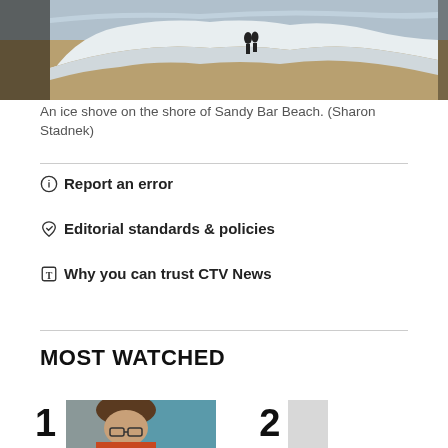[Figure (photo): An ice shove on the shore of Sandy Bar Beach, showing two people standing near a large ridge of ice with a sandy beach in the foreground.]
An ice shove on the shore of Sandy Bar Beach. (Sharon Stadnek)
Report an error
Editorial standards & policies
Why you can trust CTV News
MOST WATCHED
[Figure (photo): Thumbnail image number 1 showing a person with glasses and curly hair.]
[Figure (photo): Thumbnail image number 2, partially visible gray placeholder.]